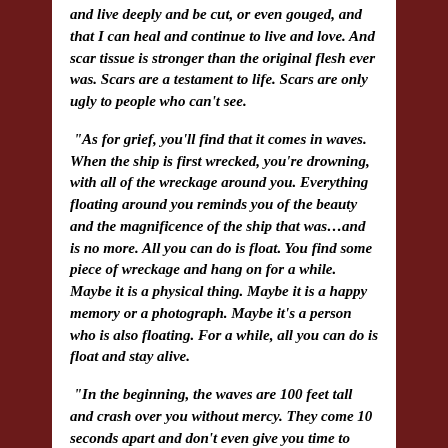and live deeply and be cut, or even gouged, and that I can heal and continue to live and love. And scar tissue is stronger than the original flesh ever was. Scars are a testament to life. Scars are only ugly to people who can't see.
“As for grief, you’ll find that it comes in waves. When the ship is first wrecked, you’re drowning, with all of the wreckage around you. Everything floating around you reminds you of the beauty and the magnificence of the ship that was…and is no more. All you can do is float. You find some piece of wreckage and hang on for a while. Maybe it is a physical thing. Maybe it is a happy memory or a photograph. Maybe it’s a person who is also floating. For a while, all you can do is float and stay alive.
“In the beginning, the waves are 100 feet tall and crash over you without mercy. They come 10 seconds apart and don’t even give you time to catch your breath. All you can do is hang on and float. After a while, maybe weeks, maybe months, you’ll find the